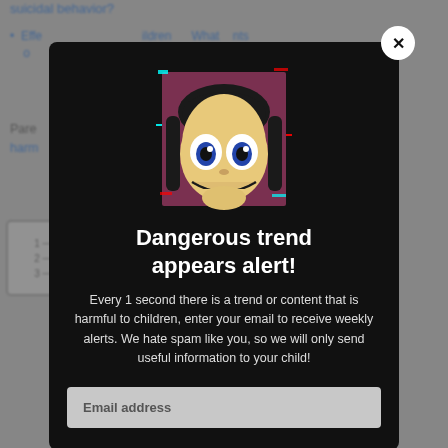suicidal behavior?
Effects of screen exposure in children — What parents do...
Parents ... online harm...
[Figure (screenshot): Modal popup with dark background showing a Momo-character illustration, alert title 'Dangerous trend appears alert!', body text about weekly email alerts for harmful trends, and an email address input field.]
Dangerous trend appears alert!
Every 1 second there is a trend or content that is harmful to children, enter your email to receive weekly alerts. We hate spam like you, so we will only send useful information to your child!
Email address